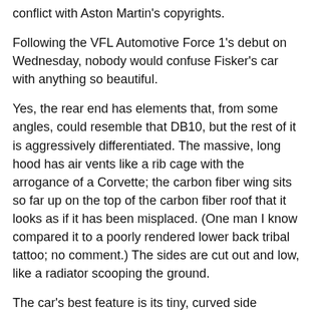conflict with Aston Martin's copyrights.
Following the VFL Automotive Force 1's debut on Wednesday, nobody would confuse Fisker's car with anything so beautiful.
Yes, the rear end has elements that, from some angles, could resemble that DB10, but the rest of it is aggressively differentiated. The massive, long hood has air vents like a rib cage with the arrogance of a Corvette; the carbon fiber wing sits so far up on the top of the carbon fiber roof that it looks as if it has been misplaced. (One man I know compared it to a poorly rendered lower back tribal tattoo; no comment.) The sides are cut out and low, like a radiator scooping the ground.
The car's best feature is its tiny, curved side windows, which follow the line pulling from the front nose through the side, ending in elegant wisps that point down toward the rear. Fisker said they're a new element in keeping with the main idea of the car: to show off.